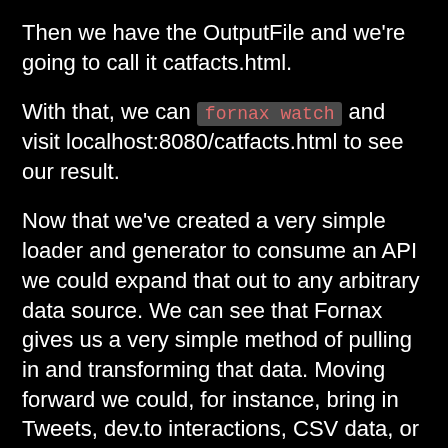Then we have the OutputFile and we're going to call it catfacts.html.
With that, we can fornax watch and visit localhost:8080/catfacts.html to see our result.
Now that we've created a very simple loader and generator to consume an API we could expand that out to any arbitrary data source. We can see that Fornax gives us a very simple method of pulling in and transforming that data. Moving forward we could, for instance, bring in Tweets, dev.to interactions, CSV data, or arbitrary database connections. Any data we can manipulate in F# can be turned into static content.